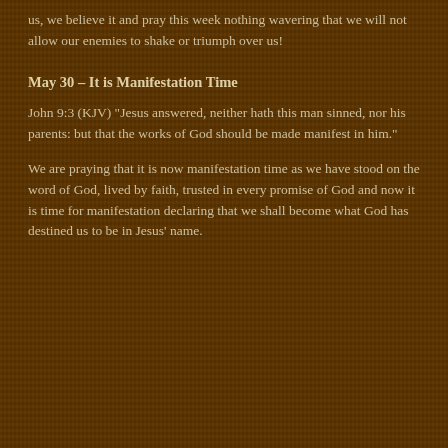us, we believe it and pray this week nothing wavering that we will not allow our enemies to shake or triumph over us!
May 30 – It is Manifestation Time
John 9:3 (KJV) “Jesus answered, neither hath this man sinned, nor his parents: but that the works of God should be made manifest in him.”
We are praying that it is now manifestation time as we have stood on the word of God, lived by faith, trusted in every promise of God and now it is time for manifestation declaring that we shall become what God has destined us to be in Jesus’ name.